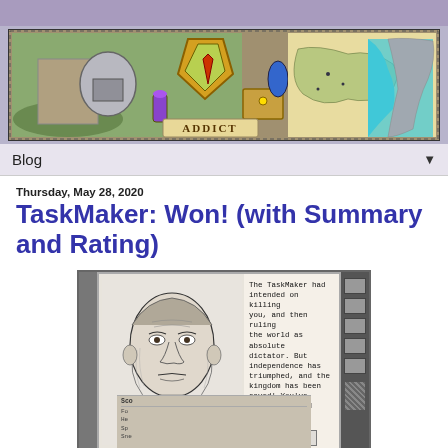[Figure (illustration): CRPG Addict blog banner showing fantasy RPG themed artwork with a shield, knight armor, potions, treasure, and a world map on the right side, with a decorative border and 'ADDICT' text at the bottom center.]
Blog ▼
Thursday, May 28, 2020
TaskMaker: Won! (with Summary and Rating)
[Figure (screenshot): Game screenshot from TaskMaker showing a pencil-drawn portrait of a stern-looking man on the left, and text on the right reading: 'The TaskMaker had intended on killing you, and then ruling the world as absolute dictator. But independence has triumphed, and the kingdom has been saved! You've succeeded, and have earned your reward.' A 'Great!' button appears at the bottom right of the text panel. The bottom of the screen shows a score/stats panel with labels like Sco, Fo, He, Sp, Sne.]